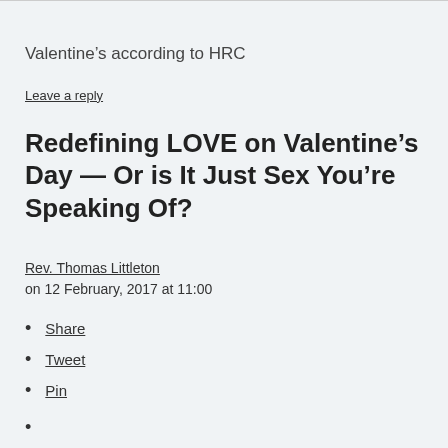Valentine’s according to HRC
Leave a reply
Redefining LOVE on Valentine’s Day — Or is It Just Sex You’re Speaking Of?
Rev. Thomas Littleton
on 12 February, 2017 at 11:00
Share
Tweet
Pin